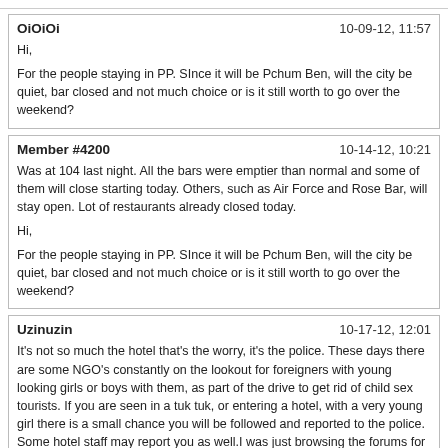OiOiOi
10-09-12, 11:57
Hi,

For the people staying in PP. SInce it will be Pchum Ben, will the city be quiet, bar closed and not much choice or is it still worth to go over the weekend?
Member #4200
10-14-12, 10:21
Was at 104 last night. All the bars were emptier than normal and some of them will close starting today. Others, such as Air Force and Rose Bar, will stay open. Lot of restaurants already closed today.

Hi,

For the people staying in PP. SInce it will be Pchum Ben, will the city be quiet, bar closed and not much choice or is it still worth to go over the weekend?
Uzinuzin
10-17-12, 12:01
It's not so much the hotel that's the worry, it's the police. These days there are some NGO's constantly on the lookout for foreigners with young looking girls or boys with them, as part of the drive to get rid of child sex tourists. If you are seen in a tuk tuk, or entering a hotel, with a very young girl there is a small chance you will be followed and reported to the police. Some hotel staff may report you as well.I was just browsing the forums for a few days visa run from Thailand and trying to pick a place to go, PP looked interesting until I saw this post!"Young Looking"! Some 20 year old Asian girls look totally young for their age, without seeing their I'd you can not possibly tell their age, does that mean you get reported to the police by people guessing!

I do hope guys in illegal activities get reported but how often does this get mixed up and get regular manners into trouble? This put me off PP a bit, you